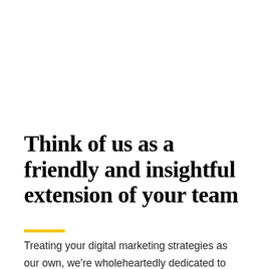Think of us as a friendly and insightful extension of your team
Treating your digital marketing strategies as our own, we're wholeheartedly dedicated to helping you grow your business. Our measure of success is